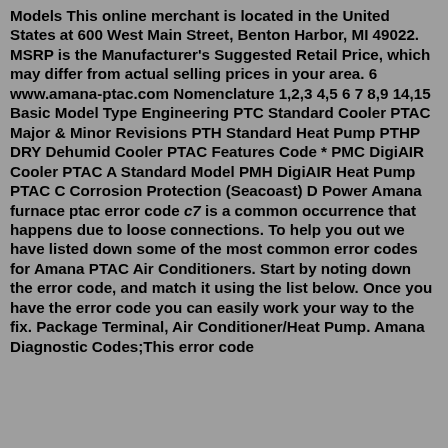Models This online merchant is located in the United States at 600 West Main Street, Benton Harbor, MI 49022. MSRP is the Manufacturer's Suggested Retail Price, which may differ from actual selling prices in your area. 6 www.amana-ptac.com Nomenclature 1,2,3 4,5 6 7 8,9 14,15 Basic Model Type Engineering PTC Standard Cooler PTAC Major & Minor Revisions PTH Standard Heat Pump PTHP DRY Dehumid Cooler PTAC Features Code * PMC DigiAIR Cooler PTAC A Standard Model PMH DigiAIR Heat Pump PTAC C Corrosion Protection (Seacoast) D Power Amana furnace ptac error code c7 is a common occurrence that happens due to loose connections. To help you out we have listed down some of the most common error codes for Amana PTAC Air Conditioners. Start by noting down the error code, and match it using the list below. Once you have the error code you can easily work your way to the fix. Package Terminal, Air Conditioner/Heat Pump. Amana Diagnostic Codes;This error code